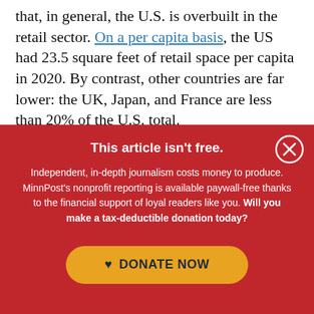that, in general, the U.S. is overbuilt in the retail sector. On a per capita basis, the US had 23.5 square feet of retail space per capita in 2020. By contrast, other countries are far lower: the UK, Japan, and France are less than 20% of the U.S. total.
This article isn't free.
Independent, in-depth journalism costs money to produce. MinnPost's nonprofit reporting is available paywall-free thanks to the financial support of loyal readers like you. Will you make a tax-deductible donation today?
[Figure (other): Yellow rounded donate button with heart icon and text DONATE NOW]